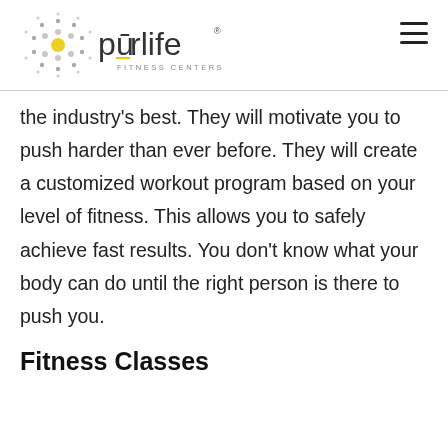[Figure (logo): Purlife Fitness Centers logo with dotted sun/circle icon and stylized text 'pürlife' with 'FITNESS CENTERS' below]
the industry's best. They will motivate you to push harder than ever before. They will create a customized workout program based on your level of fitness. This allows you to safely achieve fast results. You don't know what your body can do until the right person is there to push you.
Fitness Classes